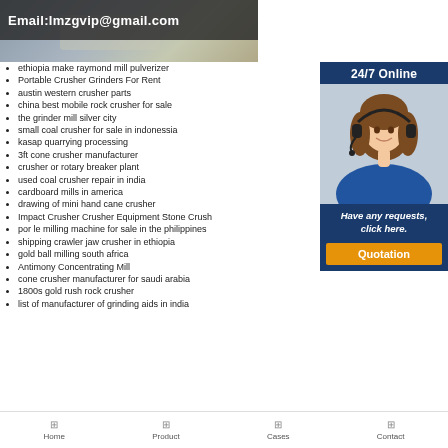[Figure (photo): Factory/machinery background image with email overlay showing Email:lmzgvip@gmail.com]
[Figure (photo): 24/7 Online support panel with woman wearing headset, 'Have any requests, click here.' text and Quotation button]
ethiopia make raymond mill pulverizer
Portable Crusher Grinders For Rent
austin western crusher parts
china best mobile rock crusher for sale
the grinder mill silver city
small coal crusher for sale in indonessia
kasap quarrying processing
3ft cone crusher manufacturer
crusher or rotary breaker plant
used coal crusher repair in india
cardboard mills in america
drawing of mini hand cane crusher
Impact Crusher Crusher Equipment Stone Crush
por le milling machine for sale in the philippines
shipping crawler jaw crusher in ethiopia
gold ball milling south africa
Antimony Concentrating Mill
cone crusher manufacturer for saudi arabia
1800s gold rush rock crusher
list of manufacturer of grinding aids in india
Home  Product  Cases  Contact